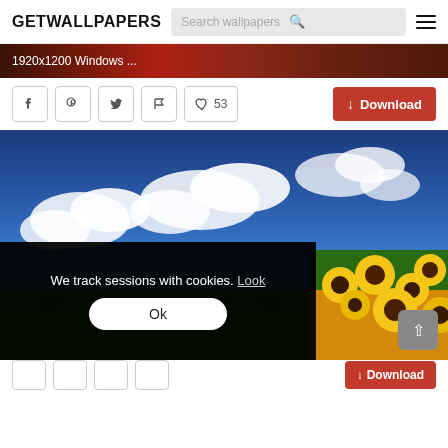GETWALLPAPERS
1920x1200 Windows ...
[Figure (screenshot): Website screenshot of getwallpapers.com showing a wallpaper page with a sunflower field and blue sky image, social share buttons, download button, and a cookie consent overlay.]
We track sessions with cookies. Look
Ok